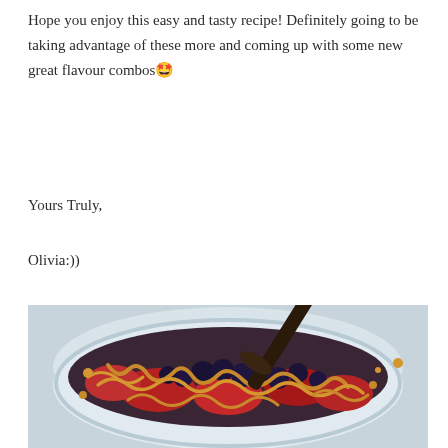Hope you enjoy this easy and tasty recipe! Definitely going to be taking advantage of these more and coming up with some new great flavour combos 🤩
Yours Truly,
Olivia:))
[Figure (photo): Close-up photo of a glass bowl filled with strawberries and blueberries topped with drizzled peanut butter sauce and a dark spoon, on a light background.]